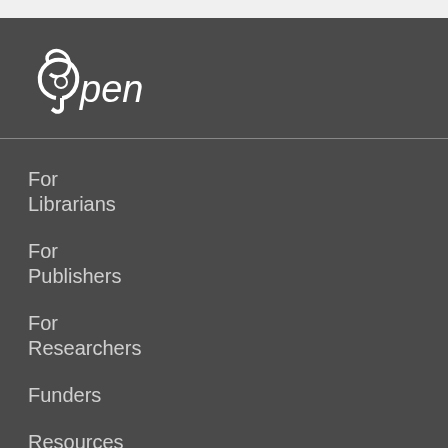[Figure (logo): Open Access logo in white on dark background — stylized open lock/infinity symbol followed by the word 'open' in italic white text]
For Librarians
For Publishers
For Researchers
Funders
Resources
OAPEN